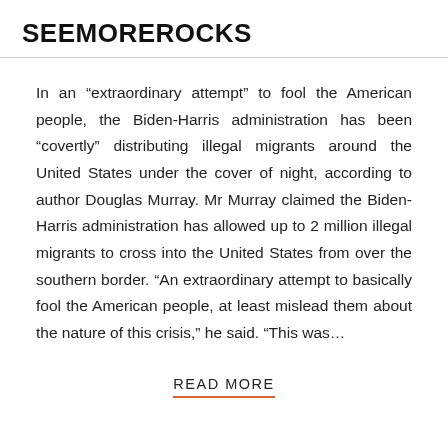SEEMOREROCKS
In an “extraordinary attempt” to fool the American people, the Biden-Harris administration has been “covertly” distributing illegal migrants around the United States under the cover of night, according to author Douglas Murray. Mr Murray claimed the Biden-Harris administration has allowed up to 2 million illegal migrants to cross into the United States from over the southern border. “An extraordinary attempt to basically fool the American people, at least mislead them about the nature of this crisis,” he said. “This was…
READ MORE